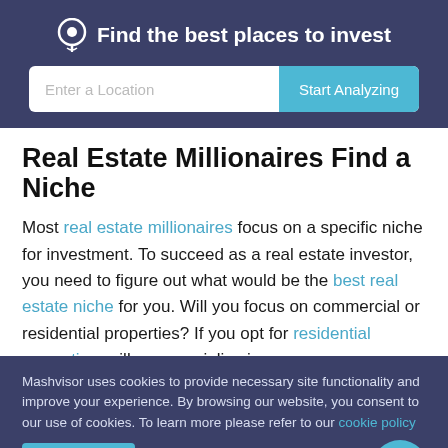Find the best places to invest
Enter a Location
Real Estate Millionaires Find a Niche
Most real estate millionaires focus on a specific niche for investment. To succeed as a real estate investor, you need to figure out what would be the best real estate niche for you. Will you focus on commercial or residential properties? If you opt for residential properties, will you specialize in
Mashvisor uses cookies to provide necessary site functionality and improve your experience. By browsing our website, you consent to our use of cookies. To learn more please refer to our cookie policy
Accept
Reject